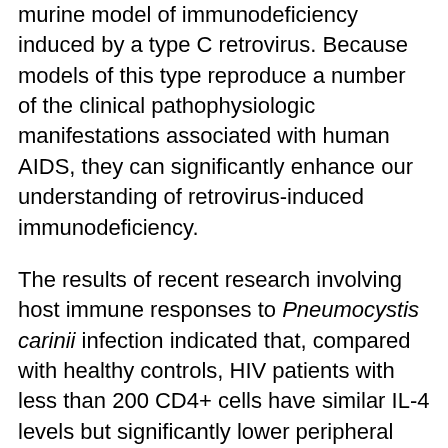murine model of immunodeficiency induced by a type C retrovirus. Because models of this type reproduce a number of the clinical pathophysiologic manifestations associated with human AIDS, they can significantly enhance our understanding of retrovirus-induced immunodeficiency.
The results of recent research involving host immune responses to Pneumocystis carinii infection indicated that, compared with healthy controls, HIV patients with less than 200 CD4+ cells have similar IL-4 levels but significantly lower peripheral blood mononuclear cell proliferative responses and IFN-γ levels to P. carinii major surface class glycoprotein (MSG). Centers for Disease Control and Prevention (CDC) Class 3 patients with previous P. carinii pneumonia (PcP) have significantly higher IL-4 (but not IFN-γ) levels than Class 3 patients with no history of PcP. HIV+ patients also have decreased from PcP lev...